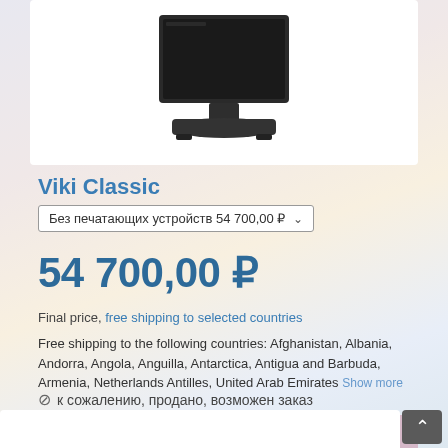[Figure (photo): Product photo of a dark gray POS terminal (Viki Classic) on a white background, showing the monitor on a stand/base]
Viki Classic
Без печатающих устройств 54 700,00 ₽ ▾
54 700,00 ₽
Final price, free shipping to selected countries
Free shipping to the following countries: Afghanistan, Albania, Andorra, Angola, Anguilla, Antarctica, Antigua and Barbuda, Armenia, Netherlands Antilles, United Arab Emirates Show more
🚫 к сожалению, продано, возможен заказ
В корзину